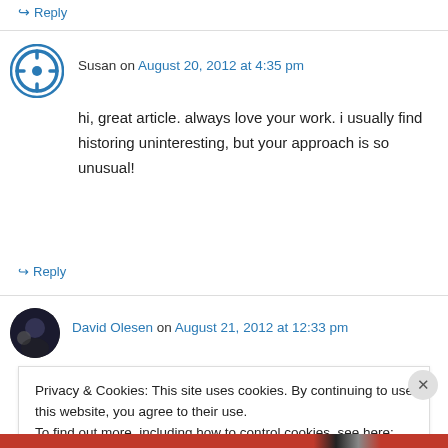↪ Reply
Susan on August 20, 2012 at 4:35 pm
hi, great article. always love your work. i usually find historing uninteresting, but your approach is so unusual!
↪ Reply
David Olesen on August 21, 2012 at 12:33 pm
Privacy & Cookies: This site uses cookies. By continuing to use this website, you agree to their use. To find out more, including how to control cookies, see here: Cookie Policy
Close and accept